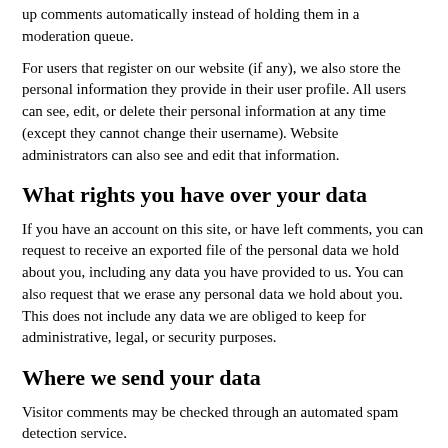up comments automatically instead of holding them in a moderation queue.
For users that register on our website (if any), we also store the personal information they provide in their user profile. All users can see, edit, or delete their personal information at any time (except they cannot change their username). Website administrators can also see and edit that information.
What rights you have over your data
If you have an account on this site, or have left comments, you can request to receive an exported file of the personal data we hold about you, including any data you have provided to us. You can also request that we erase any personal data we hold about you. This does not include any data we are obliged to keep for administrative, legal, or security purposes.
Where we send your data
Visitor comments may be checked through an automated spam detection service.
Your contact information